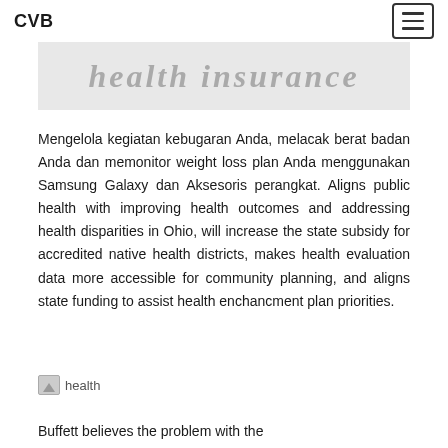CVB
[Figure (illustration): Partially visible banner image with italic gray text, likely a health or fitness related heading, cut off at top]
Mengelola kegiatan kebugaran Anda, melacak berat badan Anda dan memonitor weight loss plan Anda menggunakan Samsung Galaxy dan Aksesoris perangkat. Aligns public health with improving health outcomes and addressing health disparities in Ohio, will increase the state subsidy for accredited native health districts, makes health evaluation data more accessible for community planning, and aligns state funding to assist health enchancment plan priorities.
[Figure (photo): Small health image icon/thumbnail labeled 'health']
Buffett believes the problem with the